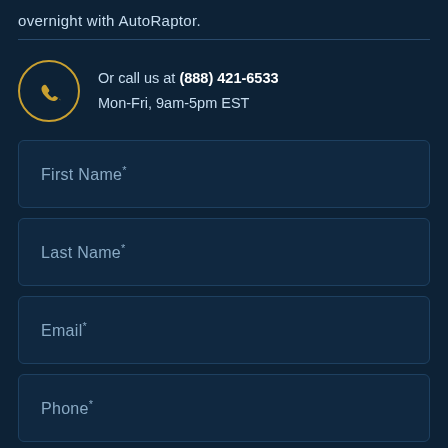overnight with AutoRaptor.
Or call us at (888) 421-6533
Mon-Fri, 9am-5pm EST
First Name *
Last Name *
Email *
Phone *